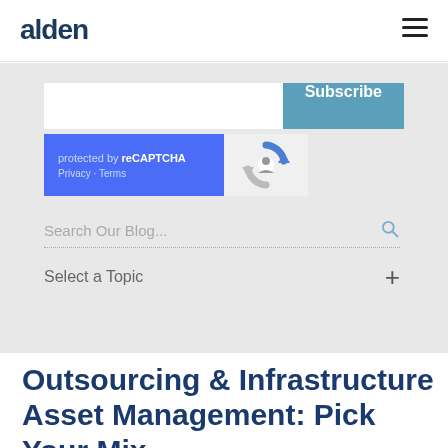alden
[Figure (screenshot): Subscribe email input field with blue Subscribe button]
[Figure (screenshot): reCAPTCHA widget showing 'protected by reCAPTCHA' with Privacy and Terms links and reCAPTCHA logo]
Search Our Blog...
Select a Topic
Outsourcing & Infrastructure Asset Management: Pick Your Mix